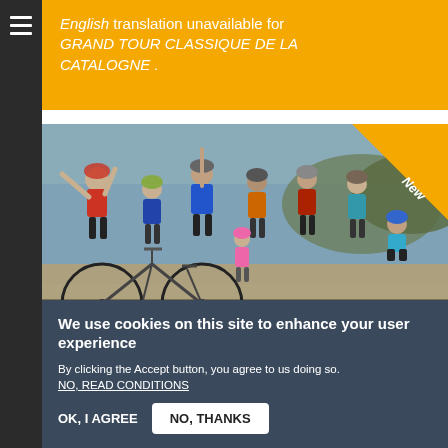English translation unavailable for GRAND TOUR CLASSIQUE DE LA CATALOGNE .
[Figure (photo): Group of cyclists posing together near a waterfront with bicycles, wearing cycling gear and helmets. A yellow diagonal 'New' badge is in the top-right corner of the image.]
We use cookies on this site to enhance your user experience
By clicking the Accept button, you agree to us doing so. NO, READ CONDITIONS
OK, I AGREE  NO, THANKS